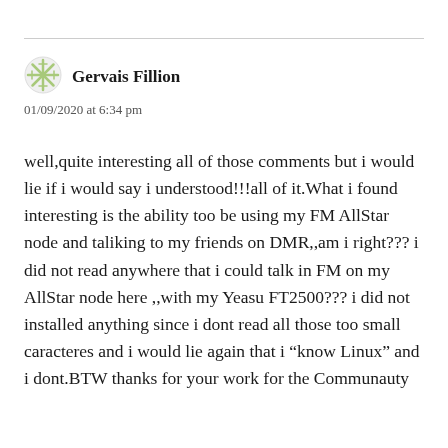[Figure (illustration): Snowflake/asterisk avatar icon in light green color]
Gervais Fillion
01/09/2020 at 6:34 pm
well,quite interesting all of those comments but i would lie if i would say i understood!!!all of it.What i found interesting is the ability too be using my FM AllStar node and taliking to my friends on DMR,,am i right??? i did not read anywhere that i could talk in FM on my AllStar node here ,,with my Yeasu FT2500??? i did not installed anything since i dont read all those too small caracteres and i would lie again that i “know Linux” and i dont.BTW thanks for your work for the Communauty